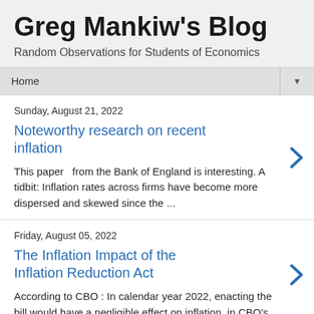Greg Mankiw's Blog
Random Observations for Students of Economics
Home
Sunday, August 21, 2022
Noteworthy research on recent inflation
This paper  from the Bank of England is interesting. A tidbit: Inflation rates across firms have become more dispersed and skewed since the ...
Friday, August 05, 2022
The Inflation Impact of the Inflation Reduction Act
According to CBO : In calendar year 2022, enacting the bill would have a negligible effect on inflation, in CBO's